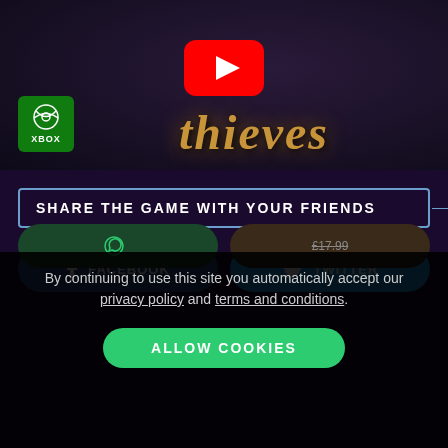[Figure (screenshot): Sea of Thieves YouTube video thumbnail showing the game title 'Thieves' in golden stylized text on a dark background, with a YouTube play button in the center and an Xbox logo badge in the bottom-left corner.]
SHARE THE GAME WITH YOUR FRIENDS
FACEBOOK
TWITTER
By continuing to use this site you automatically accept our privacy policy and terms and conditions.
ALLOW COOKIES
£17.99